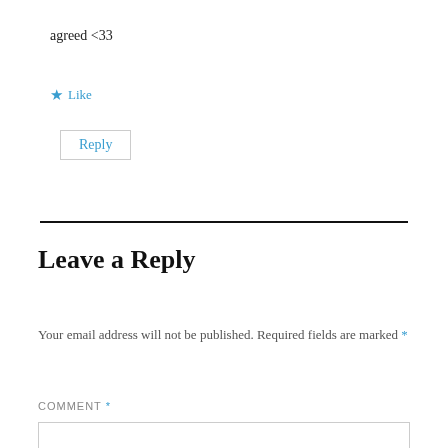agreed <33
★ Like
Reply
Leave a Reply
Your email address will not be published. Required fields are marked *
COMMENT *